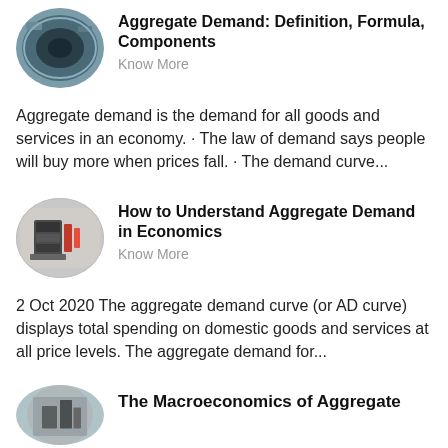[Figure (photo): Oval/ellipse thumbnail image of industrial machinery (large circular metal ring/part) in a factory setting]
Aggregate Demand: Definition, Formula, Components
Know More
Aggregate demand is the demand for all goods and services in an economy. · The law of demand says people will buy more when prices fall. · The demand curve...
[Figure (photo): Oval/ellipse thumbnail image of industrial equipment (large machine/crusher) in a factory setting]
How to Understand Aggregate Demand in Economics
Know More
2 Oct 2020 The aggregate demand curve (or AD curve) displays total spending on domestic goods and services at all price levels. The aggregate demand for...
[Figure (photo): Oval/ellipse thumbnail image partially visible at bottom, showing industrial/mechanical setting]
The Macroeconomics of Aggregate